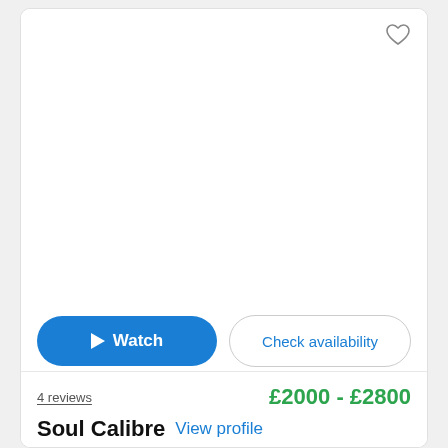[Figure (screenshot): White image area placeholder with a heart/favourite icon in the top right corner]
Watch
Check availability
4 reviews
£2000 - £2800
Soul Calibre  View profile